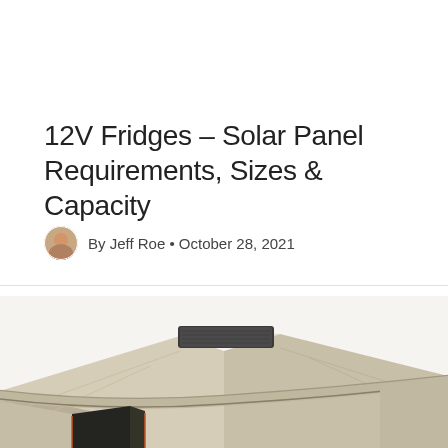12V Fridges – Solar Panel Requirements, Sizes & Capacity
By Jeff Roe • October 28, 2021
[Figure (photo): Photo of a canvas camper/tent trailer roof from an angle, showing a beige canvas roof with a dark solar panel or storage case mounted on top, with tent walls visible below.]